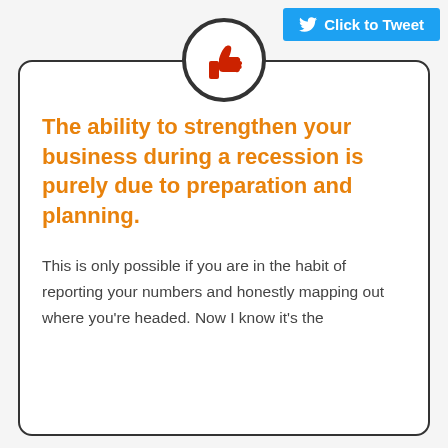[Figure (other): Twitter 'Click to Tweet' button with bird icon in blue]
[Figure (illustration): Red thumbs-up icon inside a circular black-bordered white circle, centered at top of card]
The ability to strengthen your business during a recession is purely due to preparation and planning.
This is only possible if you are in the habit of reporting your numbers and honestly mapping out where you're headed. Now I know it's the